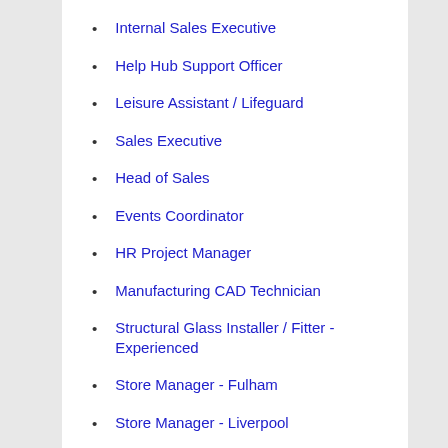Internal Sales Executive
Help Hub Support Officer
Leisure Assistant / Lifeguard
Sales Executive
Head of Sales
Events Coordinator
HR Project Manager
Manufacturing CAD Technician
Structural Glass Installer / Fitter - Experienced
Store Manager - Fulham
Store Manager - Liverpool